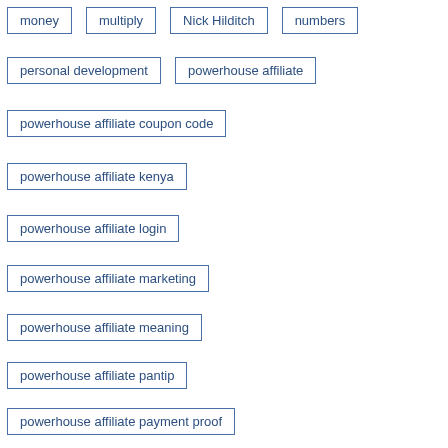money
multiply
Nick Hilditch
numbers
personal development
powerhouse affiliate
powerhouse affiliate coupon code
powerhouse affiliate kenya
powerhouse affiliate login
powerhouse affiliate marketing
powerhouse affiliate meaning
powerhouse affiliate pantip
powerhouse affiliate payment proof
powerhouse affiliate vip
rules
TED